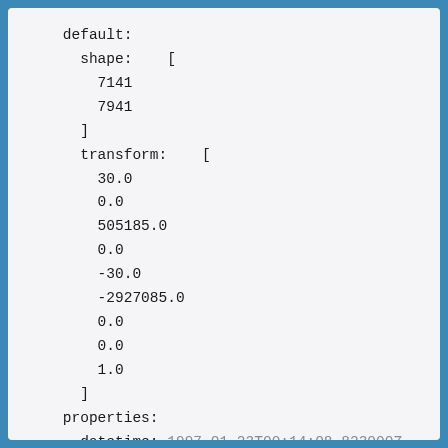default:
  shape:    [
    7141
    7941
  ]
  transform:    [
    30.0
    0.0
    505185.0
    0.0
    -30.0
    -2927085.0
    0.0
    0.0
    1.0
  ]
properties:
  datetime: 1997-01-23T00:14:08.823000Z
  dea:dataset_maturity: final